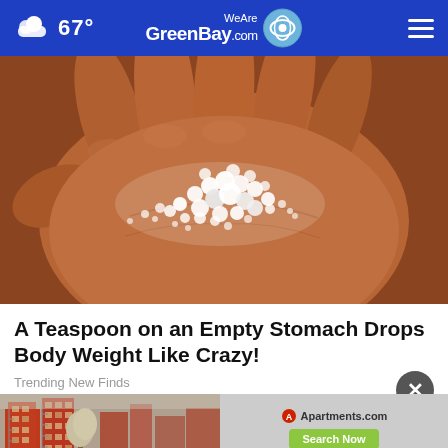67° WeAreGreenBay.com
[Figure (photo): A hand holding a pile of small white hailstones or granular white particles in its palm]
A Teaspoon on an Empty Stomach Drops Body Weight Like Crazy!
Trending New Finds
[Figure (photo): Advertisement banner showing apartment buildings and an Apartments.com advertisement with a Search Now button]